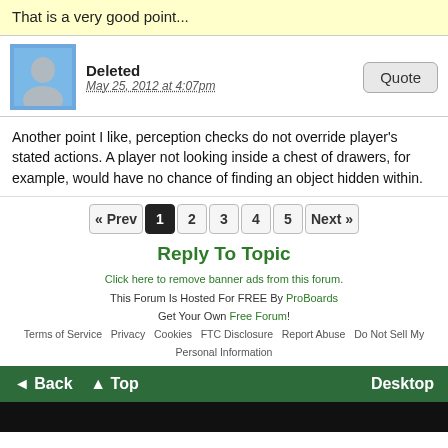That is a very good point...
Deleted
May 25, 2012 at 4:07pm
Another point I like, perception checks do not override player's stated actions. A player not looking inside a chest of drawers, for example, would have no chance of finding an object hidden within.
« Prev  1  2  3  4  5  Next »
Reply To Topic
Click here to remove banner ads from this forum.
This Forum Is Hosted For FREE By ProBoards
Get Your Own Free Forum!
Terms of Service  Privacy  Cookies  FTC Disclosure  Report Abuse  Do Not Sell My Personal Information
◄ Back  ▲ Top  Desktop